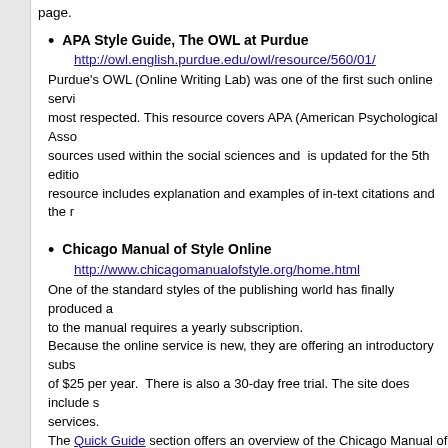page.
APA Style Guide, The OWL at Purdue
http://owl.english.purdue.edu/owl/resource/560/01/
Purdue's OWL (Online Writing Lab) was one of the first such online services and most respected. This resource covers APA (American Psychological Association) sources used within the social sciences and is updated for the 5th edition. The resource includes explanation and examples of in-text citations and the r...
Chicago Manual of Style Online
http://www.chicagomanualofstyle.org/home.html
One of the standard styles of the publishing world has finally produced a... to the manual requires a yearly subscription.
Because the online service is new, they are offering an introductory subscription of $25 per year. There is also a 30-day free trial. The site does include some services.
The Quick Guide section offers an overview of the Chicago Manual of Style source examples. The . Q&A section is a cornucopia of tidbits about CMS students because the questions are common issues and the answers are many. The only drawback to this section is that it is organized by Month...
Electronic Sources